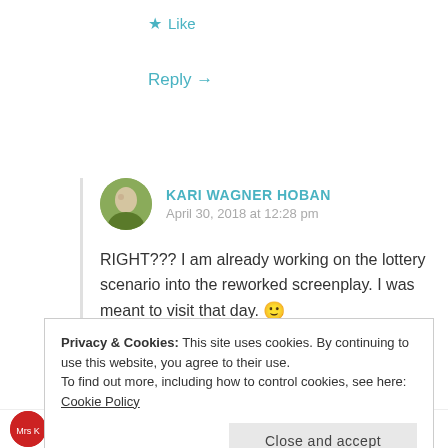★ Like
Reply →
KARI WAGNER HOBAN
April 30, 2018 at 12:28 pm
RIGHT??? I am already working on the lottery scenario into the reworked screenplay. I was meant to visit that day. 🙂
★ Like
Privacy & Cookies: This site uses cookies. By continuing to use this website, you agree to their use.
To find out more, including how to control cookies, see here: Cookie Policy
Close and accept
MRS K @ MRS. KRINGLE'S KITCHEN